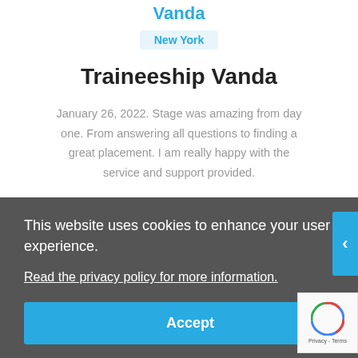Vanda
New York
Traineeship Vanda
January 26, 2022. Stage was amazing from day one. From answering all questions to finding a great placement. I am really happy with the service and support provided.
This website uses cookies to enhance your user experience.
Read the privacy policy for more information.
Accept
[Figure (logo): reCAPTCHA badge with spinning arrow logo and Privacy - Terms text]